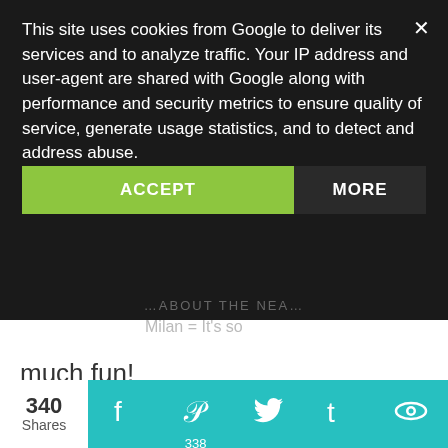This site uses cookies from Google to deliver its services and to analyze traffic. Your IP address and user-agent are shared with Google along with performance and security metrics to ensure quality of service, generate usage statistics, and to detect and address abuse.
ACCEPT
MORE
much fun!
Reply
Unknown June 5, 2021 at 8:08 AM
Milan is such a beautiful city! Unfortunately I only had half a day when I had a layover there.
340 Shares
338